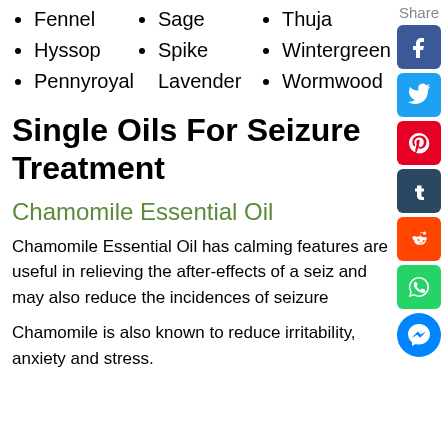Fennel
Hyssop
Pennyroyal
Sage
Spike Lavender
Thuja
Wintergreen
Wormwood
Single Oils For Seizure Treatment
Chamomile Essential Oil
Chamomile Essential Oil has calming features are useful in relieving the after-effects of a seiz and may also reduce the incidences of seizure
Chamomile is also known to reduce irritability, anxiety and stress.